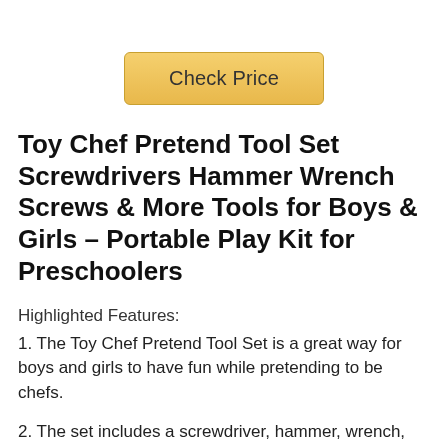[Figure (other): A golden 'Check Price' button with rounded corners and a gradient background]
Toy Chef Pretend Tool Set Screwdrivers Hammer Wrench Screws & More Tools for Boys & Girls – Portable Play Kit for Preschoolers
Highlighted Features:
1. The Toy Chef Pretend Tool Set is a great way for boys and girls to have fun while pretending to be chefs.
2. The set includes a screwdriver, hammer, wrench, screws and more, making it a versatile toy.